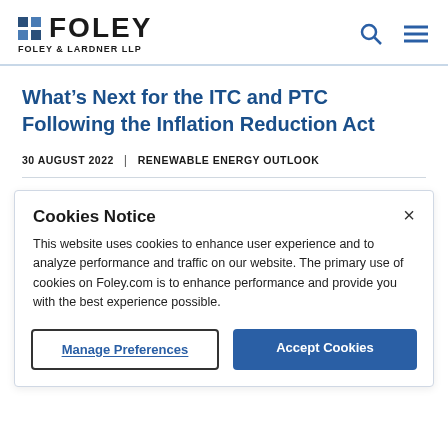FOLEY | FOLEY & LARDNER LLP
What’s Next for the ITC and PTC Following the Inflation Reduction Act
30 AUGUST 2022 | RENEWABLE ENERGY OUTLOOK
Cookies Notice
This website uses cookies to enhance user experience and to analyze performance and traffic on our website. The primary use of cookies on Foley.com is to enhance performance and provide you with the best experience possible.
Manage Preferences | Accept Cookies